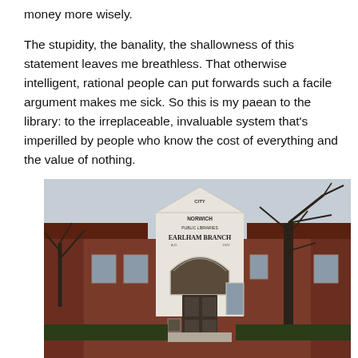money more wisely.
The stupidity, the banality, the shallowness of this statement leaves me breathless. That otherwise intelligent, rational people can put forwards such a facile argument makes me sick. So this is my paean to the library: to the irreplaceable, invaluable system that's imperilled by people who know the cost of everything and the value of nothing.
[Figure (photo): Exterior photograph of Earlham Branch library, a brick building with a white stone arched entrance pediment reading 'CITY OF NORWICH PUBLIC LIBRARIES EARLHAM BRANCH'. A bare tree stands to the right, against a grey sky. A sign reading 'LIBRARY' is visible near the entrance door.]